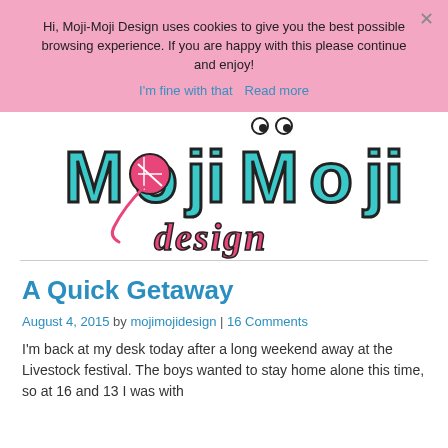Hi, Moji-Moji Design uses cookies to give you the best possible browsing experience. If you are happy with this please continue and enjoy!
I'm fine with that   Read more
[Figure (logo): Moji-Moji Design logo with teal/turquoise chunky lettering and pink cursive 'design' text, featuring a yarn ball character with eyes]
A Quick Getaway
August 4, 2015 by mojimojidesign | 16 Comments
I'm back at my desk today after a long weekend away at the Livestock festival. The boys wanted to stay home alone this time, so at 16 and 13 I was with...